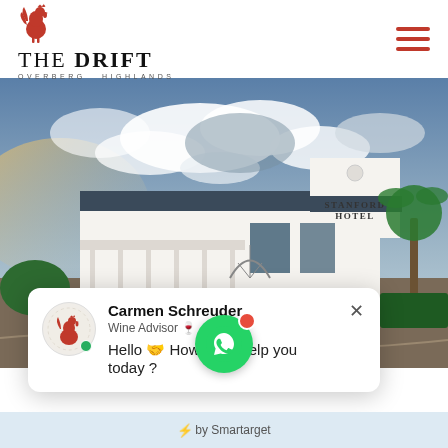[Figure (logo): The Drift Overberg Highlands logo with red rooster and serif text]
[Figure (photo): Stanford Hotel building photo with dramatic cloudy sky, white Cape Dutch style architecture with 'Stanford Hotel' text on gable, palm tree visible on right]
Carmen Schreuder
Wine Advisor 🍷
Hello 🤝 How can I help you today ?
[Figure (other): Green WhatsApp button with white phone/chat icon and red notification dot]
⚡by Smartarget